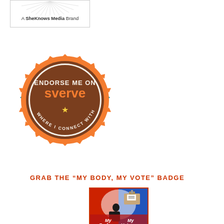[Figure (logo): A SheKnows Media Brand logo with sunburst rays at the top and border box]
[Figure (logo): Endorse Me On Sverve badge - circular orange seal with blue ribbon banner, text 'ENDORSE ME ON sverve WHERE I CONNECT WITH BRANDS']
GRAB THE “MY BODY, MY VOTE” BADGE
[Figure (illustration): My Body My Vote badge with red/blue background, silhouette of woman voting, text 'My Body My Vote']